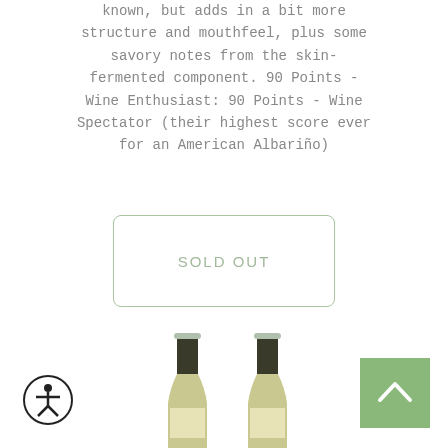known, but adds in a bit more structure and mouthfeel, plus some savory notes from the skin-fermented component. 90 Points - Wine Enthusiast: 90 Points - Wine Spectator (their highest score ever for an American Albariño)
SOLD OUT
[Figure (photo): Two wine bottle necks visible at the bottom of the page, showing green foil capsules and dark bottle necks with labels partially visible.]
[Figure (illustration): Accessibility icon - circular button with stylized person figure in black outline.]
[Figure (illustration): Scroll-to-top button - green square with white upward-pointing chevron/arrow.]